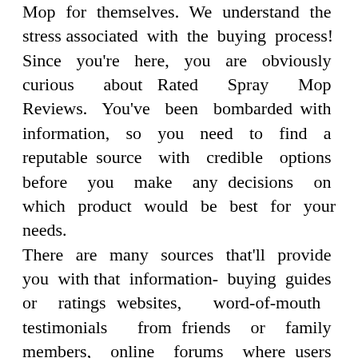Mop for themselves. We understand the stress associated with the buying process! Since you're here, you are obviously curious about Rated Spray Mop Reviews. You've been bombarded with information, so you need to find a reputable source with credible options before you make any decisions on which product would be best for your needs. There are many sources that'll provide you with that information- buying guides or ratings websites, word-of-mouth testimonials from friends or family members, online forums where users share their personal experiences, product reviews specifically found all over the internet and YouTube channels. Only thorough research will ensure that you get the right product. But that's not always easy, right? That's why we've